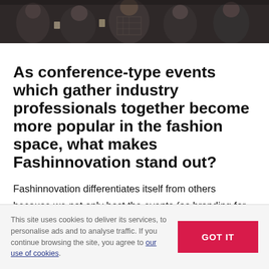[Figure (photo): Group of people at a conference/event, photographed from above/front, dark background]
As conference-type events which gather industry professionals together become more popular in the fashion space, what makes Fashinnovation stand out?
Fashinnovation differentiates itself from others because we not only host the events (as branding for who we are) but our core mission is connecting CEOs with founders who meet and get to know start-ups and scale-ups, to give them a
This site uses cookies to deliver its services, to personalise ads and to analyse traffic. If you continue browsing the site, you agree to our use of cookies.